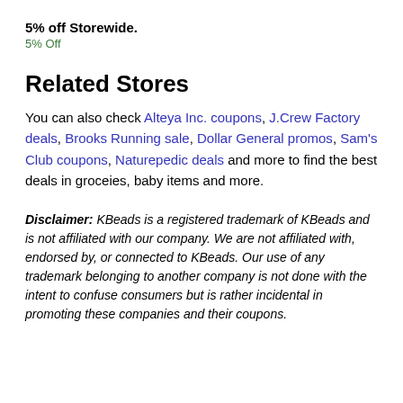5% off Storewide.
5% Off
Related Stores
You can also check Alteya Inc. coupons, J.Crew Factory deals, Brooks Running sale, Dollar General promos, Sam's Club coupons, Naturepedic deals and more to find the best deals in groceies, baby items and more.
Disclaimer: KBeads is a registered trademark of KBeads and is not affiliated with our company. We are not affiliated with, endorsed by, or connected to KBeads. Our use of any trademark belonging to another company is not done with the intent to confuse consumers but is rather incidental in promoting these companies and their coupons.